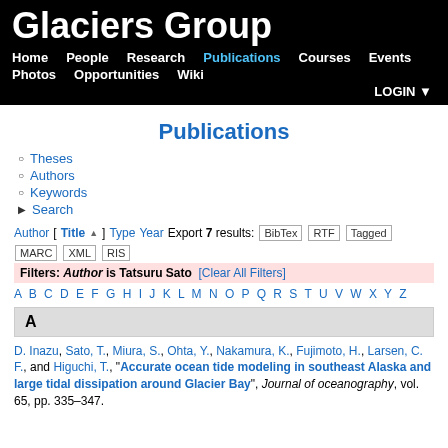Glaciers Group
Publications
Theses
Authors
Keywords
Search
Author [ Title ] Type Year Export 7 results: BibTex RTF Tagged MARC XML RIS Filters: Author is Tatsuru Sato [Clear All Filters] A B C D E F G H I J K L M N O P Q R S T U V W X Y Z
A
D. Inazu, Sato, T., Miura, S., Ohta, Y., Nakamura, K., Fujimoto, H., Larsen, C. F., and Higuchi, T., "Accurate ocean tide modeling in southeast Alaska and large tidal dissipation around Glacier Bay", Journal of oceanography, vol. 65, pp. 335–347.